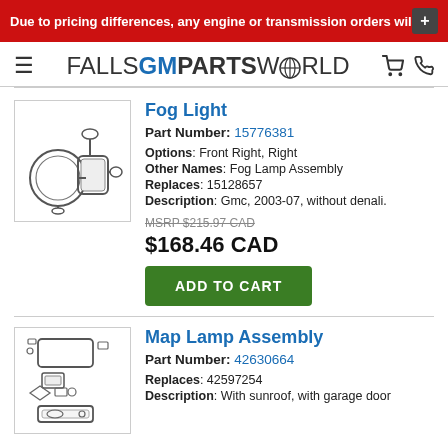Due to pricing differences, any engine or transmission orders will +
[Figure (logo): Falls GM Parts World logo with hamburger menu, globe icon, cart icon, and phone icon]
[Figure (illustration): Fog Light assembly technical illustration]
Fog Light
Part Number: 15776381
Options: Front Right, Right
Other Names: Fog Lamp Assembly
Replaces: 15128657
Description: Gmc, 2003-07, without denali.
MSRP $215.97 CAD
$168.46 CAD
ADD TO CART
[Figure (illustration): Map Lamp Assembly technical illustration]
Map Lamp Assembly
Part Number: 42630664
Replaces: 42597254
Description: With sunroof, with garage door